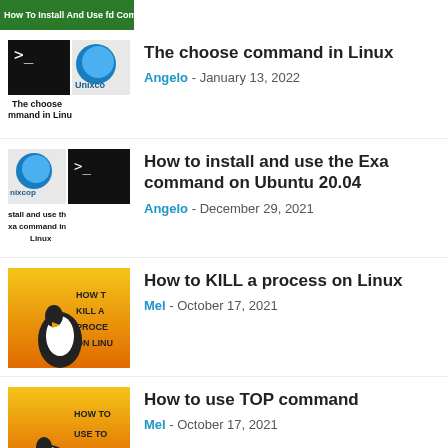[Figure (screenshot): Partial thumbnail cropped at top - green banner with text 'How To Install And Use fd Command in Li...']
[Figure (screenshot): Thumbnail for 'The choose command in Linux' showing terminal and Unixcop logo with text below]
The choose command in Linux
Angelo - January 13, 2022
[Figure (screenshot): Thumbnail for 'How to install and use the Exa command on Ubuntu 20.04' showing nixcop logo and terminal]
How to install and use the Exa command on Ubuntu 20.04
Angelo - December 29, 2021
[Figure (photo): Yellow/orange background with penguin and text 'HOW TO KILL A PROCESS ON LINUX']
How to KILL a process on Linux
Mel - October 17, 2021
[Figure (photo): Yellow/orange background with penguin and text 'HOW TO USE TO...']
How to use TOP command
Mel - October 17, 2021